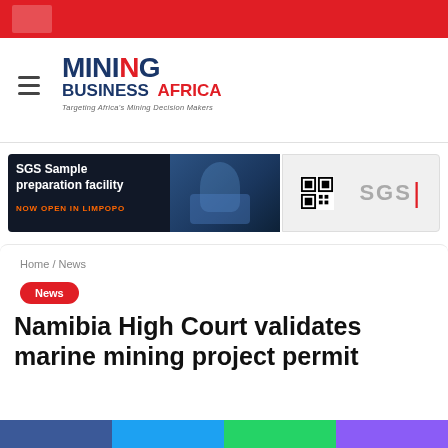Mining Business Africa – website header
[Figure (logo): Mining Business Africa logo with tagline 'Targeting Africa's Mining Decision Makers']
[Figure (infographic): SGS Sample preparation facility advertisement banner – NOW OPEN IN LIMPOPO, showing a miner image, QR code, and SGS logo]
Home / News
News
Namibia High Court validates marine mining project permit
Anita Anyango  July 13, 2021  0  0  2 minutes read